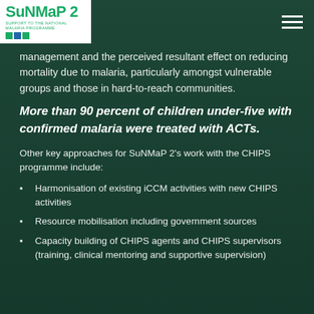SuNMaP 2 – Support to the National Malaria Programme
management and the perceived resultant effect on reducing mortality due to malaria, particularly amongst vulnerable groups and those in hard-to-reach communities.
More than 90 percent of children under-five with confirmed malaria were treated with ACTs.
Other key approaches for SuNMaP 2's work with the CHIPS programme include:
Harmonisation of existing iCCM activities with new CHIPS activities
Resource mobilisation including government sources
Capacity building of CHIPS agents and CHIPS supervisors (training, clinical mentoring and supportive supervision)